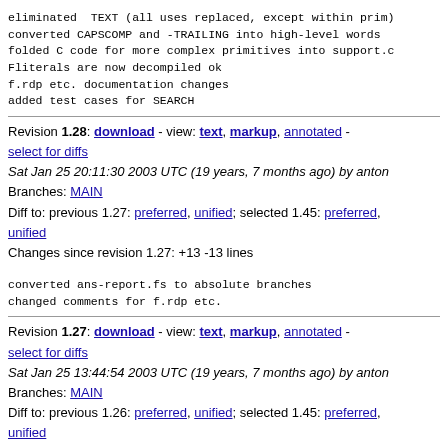eliminated TEXT (all uses replaced, except within prim)
converted CAPSCOMP and -TRAILING into high-level words
folded C code for more complex primitives into support.c
Fliterals are now decompiled ok
f.rdp etc. documentation changes
added test cases for SEARCH
Revision 1.28: download - view: text, markup, annotated - select for diffs
Sat Jan 25 20:11:30 2003 UTC (19 years, 7 months ago) by anton
Branches: MAIN
Diff to: previous 1.27: preferred, unified; selected 1.45: preferred, unified
Changes since revision 1.27: +13 -13 lines
converted ans-report.fs to absolute branches
changed comments for f.rdp etc.
Revision 1.27: download - view: text, markup, annotated - select for diffs
Sat Jan 25 13:44:54 2003 UTC (19 years, 7 months ago) by anton
Branches: MAIN
Diff to: previous 1.26: preferred, unified; selected 1.45: preferred, unified
Changes since revision 1.26: +34 -17 lines
bugfixes and improvements for f.rdp, represent, and frie